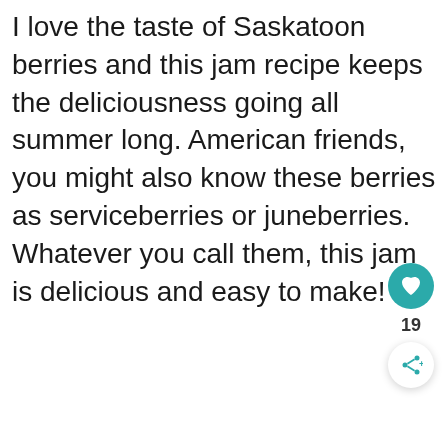I love the taste of Saskatoon berries and this jam recipe keeps the deliciousness going all summer long. American friends, you might also know these berries as serviceberries or juneberries. Whatever you call them, this jam is delicious and easy to make!
[Figure (other): UI overlay panel with a teal heart/like button showing count 19 and a share button below it]